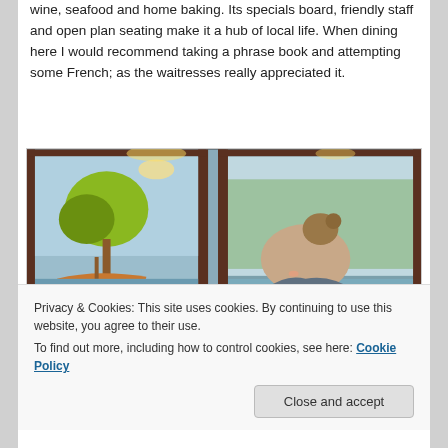wine, seafood and home baking. Its specials board, friendly staff and open plan seating make it a hub of local life. When dining here I would recommend taking a phrase book and attempting some French; as the waitresses really appreciated it.
[Figure (photo): Interior of a restaurant/bistro showing a woman seated at a table, with colorful painted murals on the wall depicting trees, a boat, and water scenery. Warm lighting visible above.]
Privacy & Cookies: This site uses cookies. By continuing to use this website, you agree to their use. To find out more, including how to control cookies, see here: Cookie Policy
Close and accept